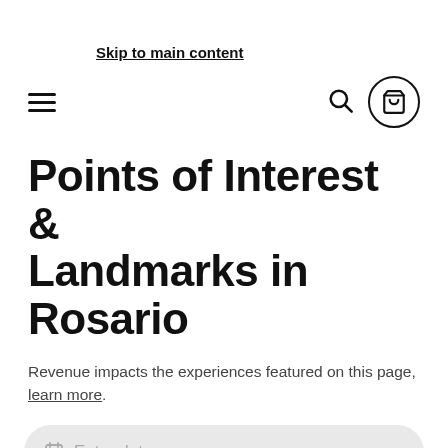Skip to main content
[Figure (screenshot): Navigation bar with hamburger menu on left and search icon plus cart icon on right]
Points of Interest & Landmarks in Rosario
Revenue impacts the experiences featured on this page, learn more.
Enter dates
Map  Filters • 2  Attractions  Trave